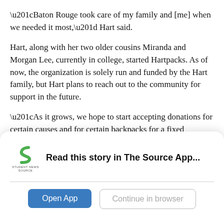“Baton Rouge took care of my family and [me] when we needed it most,” Hart said.
Hart, along with her two older cousins Miranda and Morgan Lee, currently in college, started Hartpacks. As of now, the organization is solely run and funded by the Hart family, but Hart plans to reach out to the community for support in the future.
“As it grows, we hope to start accepting donations for certain causes and for certain backpacks for a fixed price,” Hart said.
Olivia, Miranda, and Morgan stuff whatever they can in
[Figure (logo): Student News Source app logo - green S shape with 'STUDENT NEWS SOURCE' text below]
Read this story in The Source App...
Open App
Continue in browser